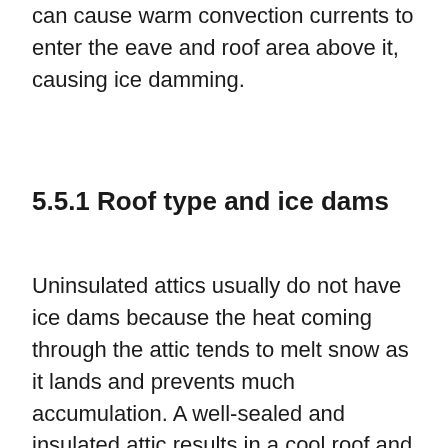exposed. dark wall being heated by the sun can cause warm convection currents to enter the eave and roof area above it, causing ice damming.
5.5.1 Roof type and ice dams
Uninsulated attics usually do not have ice dams because the heat coming through the attic tends to melt snow as it lands and prevents much accumulation. A well-sealed and insulated attic results in a cool roof and generally will also not have ice dams. Ice